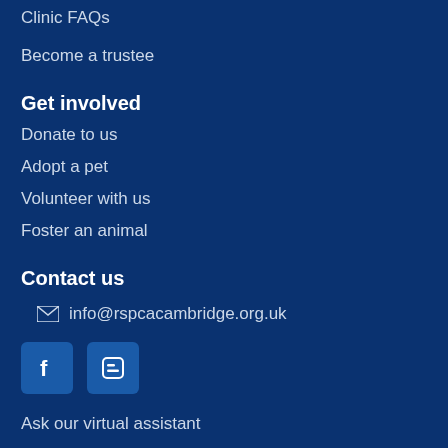Clinic FAQs
Become a trustee
Get involved
Donate to us
Adopt a pet
Volunteer with us
Foster an animal
Contact us
info@rspcacambridge.org.uk
[Figure (other): Facebook and Blogger social media icons]
Ask our virtual assistant